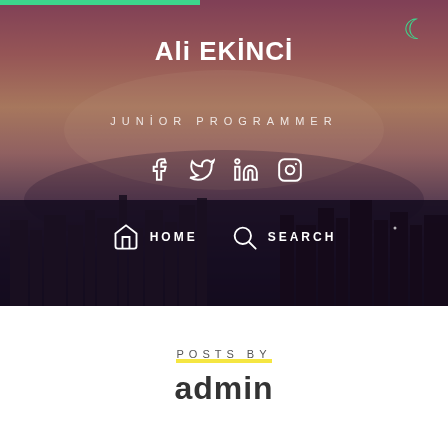[Figure (screenshot): Hero banner with city skyline background at dusk/sunset, showing pink-orange-dark gradient sky with silhouetted city buildings]
Ali EKİNCİ
JUNİOR PROGRAMMER
[Figure (illustration): Social media icons: Facebook, Twitter, LinkedIn, Instagram — white outline style]
HOME   SEARCH
POSTS BY
admin